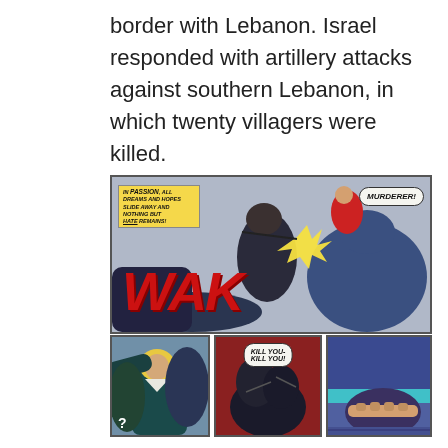border with Lebanon. Israel responded with artillery attacks against southern Lebanon, in which twenty villagers were killed.
[Figure (illustration): Comic book panels showing action fight scenes. Top large panel: caption box reading 'In PASSION, all dreams and hopes slide away and nothing but HATE remains!' with characters fighting, sound effect 'WAK' in red, and speech bubble 'MURDERER!'. Bottom row: three smaller panels showing a blonde woman being grabbed (with question mark), two figures fighting with speech bubble 'KILL YOU- KILL YOU!', and a close-up of a hand.]